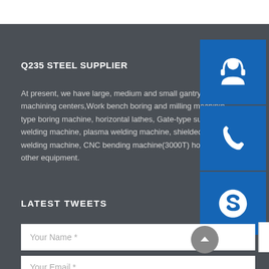Q235 STEEL SUPPLIER
At present, we have large, medium and small gantry five-fa machining centers,Work bench boring and milling machining type boring machine, horizontal lathes, Gate-type submerg welding machine, plasma welding machine, shielded metal welding machine, CNC bending machine(3000T) horizontal m other equipment.
[Figure (illustration): Blue square icon with white headset/customer support symbol]
[Figure (illustration): Blue square icon with white telephone symbol]
[Figure (illustration): Blue square icon with white Skype symbol]
LATEST TWEETS
Your Name *
Your Email *